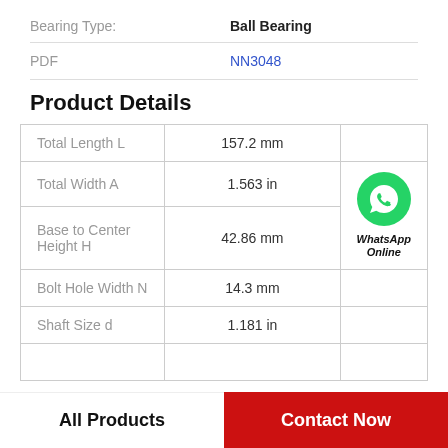Bearing Type: Ball Bearing
PDF NN3048
Product Details
|  | Value |  |
| --- | --- | --- |
| Total Length L | 157.2 mm |  |
| Total Width A | 1.563 in | WhatsApp Online |
| Base to Center Height H | 42.86 mm |  |
| Bolt Hole Width N | 14.3 mm |  |
| Shaft Size d | 1.181 in |  |
All Products | Contact Now